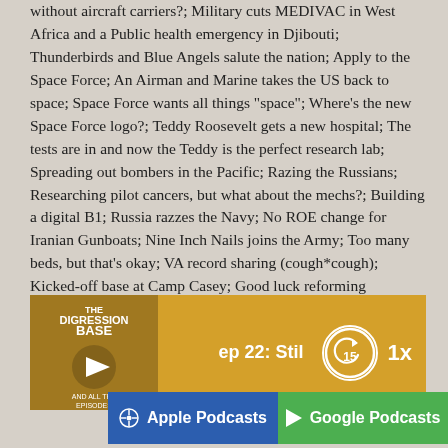without aircraft carriers?; Military cuts MEDIVAC in West Africa and a Public health emergency in Djibouti; Thunderbirds and Blue Angels salute the nation; Apply to the Space Force; An Airman and Marine takes the US back to space; Space Force wants all things "space"; Where's the new Space Force logo?; Teddy Roosevelt gets a new hospital; The tests are in and now the Teddy is the perfect research lab; Spreading out bombers in the Pacific; Razing the Russians; Researching pilot cancers, but what about the mechs?; Building a digital B1; Russia razzes the Navy; No ROE change for Iranian Gunboats; Nine Inch Nails joins the Army; Too many beds, but that's okay; VA record sharing (cough*cough); Kicked-off base at Camp Casey; Good luck reforming USAJOBS.
[Figure (other): Podcast player bar showing episode 22 with thumbnail, play button, 15-second rewind control, and 1x speed button on golden/amber background]
[Figure (other): Apple Podcasts button (blue) and Google Podcasts button (green) side by side, with a grey scroll-up arrow button]